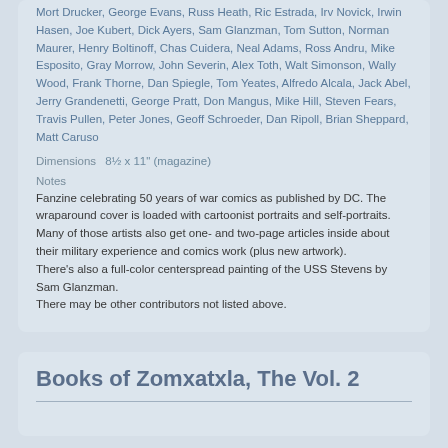Mort Drucker, George Evans, Russ Heath, Ric Estrada, Irv Novick, Irwin Hasen, Joe Kubert, Dick Ayers, Sam Glanzman, Tom Sutton, Norman Maurer, Henry Boltinoff, Chas Cuidera, Neal Adams, Ross Andru, Mike Esposito, Gray Morrow, John Severin, Alex Toth, Walt Simonson, Wally Wood, Frank Thorne, Dan Spiegle, Tom Yeates, Alfredo Alcala, Jack Abel, Jerry Grandenetti, George Pratt, Don Mangus, Mike Hill, Steven Fears, Travis Pullen, Peter Jones, Geoff Schroeder, Dan Ripoll, Brian Sheppard, Matt Caruso
Dimensions  8½ x 11" (magazine)
Notes
Fanzine celebrating 50 years of war comics as published by DC. The wraparound cover is loaded with cartoonist portraits and self-portraits. Many of those artists also get one- and two-page articles inside about their military experience and comics work (plus new artwork).
There's also a full-color centerspread painting of the USS Stevens by Sam Glanzman.
There may be other contributors not listed above.
Books of Zomxatxla, The Vol. 2